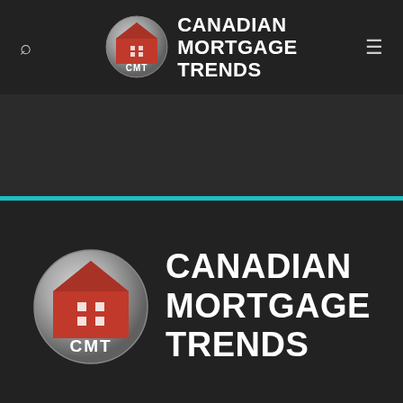[Figure (logo): Canadian Mortgage Trends (CMT) logo in navigation bar — circular badge with house icon and CMT text, next to bold white text CANADIAN MORTGAGE TRENDS]
[Figure (screenshot): Submit button — dark rectangular button with text SUBMIT in uppercase light letters]
[Figure (logo): Canadian Mortgage Trends (CMT) logo large in footer — circular badge with house icon and CMT text, next to bold white text CANADIAN MORTGAGE TRENDS]